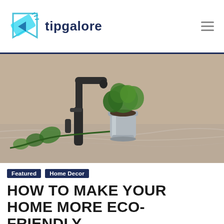tipgalore
[Figure (photo): A dark matte kitchen faucet with a potted green plant in a silver metal pot on a marble countertop, set against a beige wall.]
Featured   Home Decor
HOW TO MAKE YOUR HOME MORE ECO-FRIENDLY
Tarryn S Published on 05/06/2021